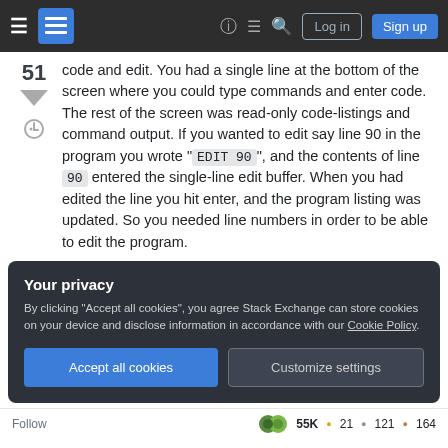Stack Exchange navigation header with Log in and Sign up buttons
code and edit. You had a single line at the bottom of the screen where you could type commands and enter code. The rest of the screen was read-only code-listings and command output. If you wanted to edit say line 90 in the program you wrote "EDIT 90", and the contents of line 90 entered the single-line edit buffer. When you had edited the line you hit enter, and the program listing was updated. So you needed line numbers in order to be able to edit the program.
Your privacy
By clicking "Accept all cookies", you agree Stack Exchange can store cookies on your device and disclose information in accordance with our Cookie Policy.
Accept all cookies
Customize settings
Follow   55K  21  121  164